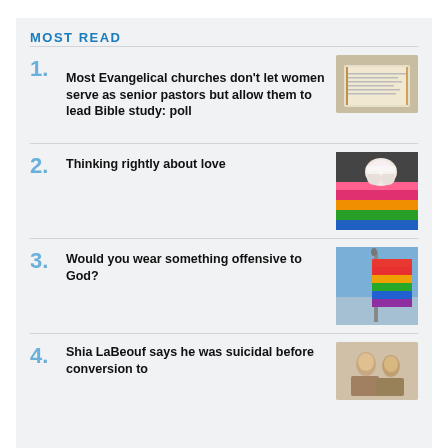MOST READ
Most Evangelical churches don't let women serve as senior pastors but allow them to lead Bible study: poll
Thinking rightly about love
Would you wear something offensive to God?
Shia LaBeouf says he was suicidal before conversion to